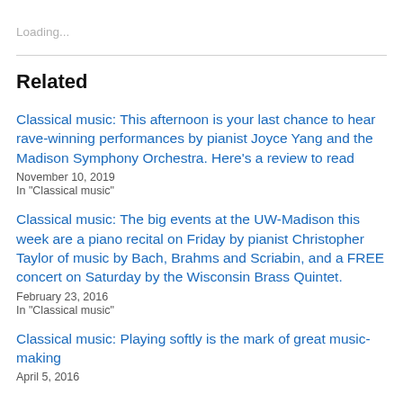Loading...
Related
Classical music: This afternoon is your last chance to hear rave-winning performances by pianist Joyce Yang and the Madison Symphony Orchestra. Here’s a review to read
November 10, 2019
In "Classical music"
Classical music: The big events at the UW-Madison this week are a piano recital on Friday by pianist Christopher Taylor of music by Bach, Brahms and Scriabin, and a FREE concert on Saturday by the Wisconsin Brass Quintet.
February 23, 2016
In "Classical music"
Classical music: Playing softly is the mark of great music-making
April 5, 2016